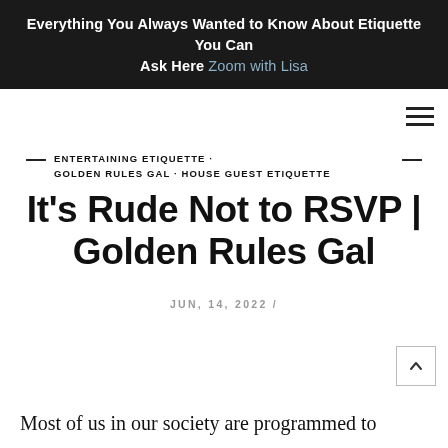Everything You Always Wanted to Know About Etiquette You Can Ask Here Zoom with Lisa
ENTERTAINING ETIQUETTE · GOLDEN RULES GAL · HOUSE GUEST ETIQUETTE
It's Rude Not to RSVP | Golden Rules Gal
JUN, 14, 2022 /
Most of us in our society are programmed to